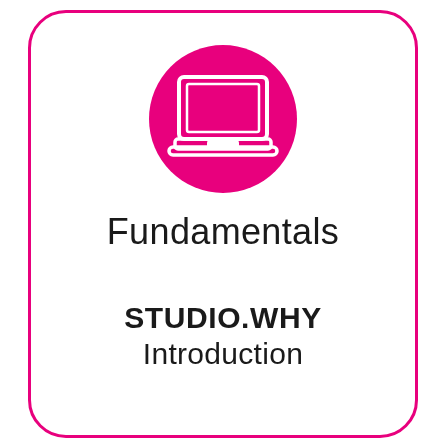[Figure (illustration): Pink circle with white laptop computer icon in the center]
Fundamentals
STUDIO.WHY
Introduction